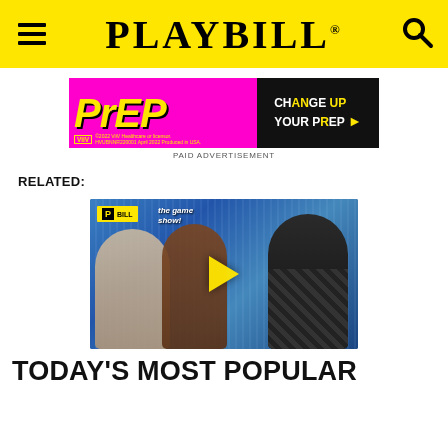PLAYBILL
[Figure (photo): PrEP advertisement banner - pink/magenta background with yellow PrEP text on left, dark background with CHANGE UP YOUR PrEP text and arrow on right. ViiV Healthcare branding.]
PAID ADVERTISEMENT
RELATED:
[Figure (screenshot): Video thumbnail showing three people posing in front of a blue sparkly curtain backdrop. A Playbill Game Show logo is visible in the top left corner. A yellow play button triangle is overlaid in the center.]
TODAY'S MOST POPULAR